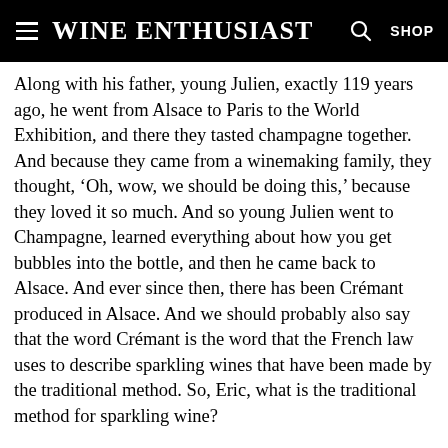Wine Enthusiast
Along with his father, young Julien, exactly 119 years ago, he went from Alsace to Paris to the World Exhibition, and there they tasted champagne together. And because they came from a winemaking family, they thought, ‘Oh, wow, we should be doing this,’ because they loved it so much. And so young Julien went to Champagne, learned everything about how you get bubbles into the bottle, and then he came back to Alsace. And ever since then, there has been Crémant produced in Alsace. And we should probably also say that the word Crémant is the word that the French law uses to describe sparkling wines that have been made by the traditional method. So, Eric, what is the traditional method for sparkling wine?
EZ: Our traditional method starts with the climate condition. You need a place where you have a high acidity. But the traditional method, maybe, to use a dry white wine and to make that fizz. That’s when you need